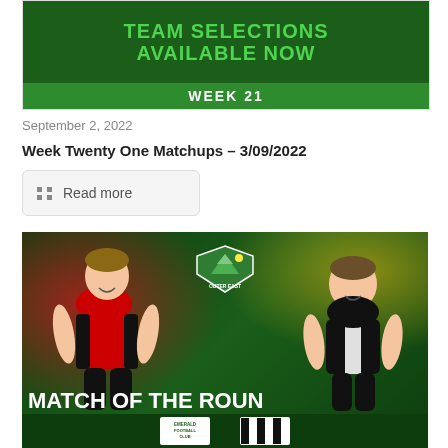[Figure (illustration): Green banner with text 'TEAM SELECTIONS AVAILABLE NOW' and 'WEEK 21' on green background]
September 2, 2022
Week Twenty One Matchups - 3/09/2022
Read more
[Figure (photo): Match of the Round promotional image showing two players on a dark green background with red and yellow splashes, Outer East Football League logo in centre, 'MATCH OF THE ROUND' text at bottom, with Emerald Football Club and another club logo at the bottom.]